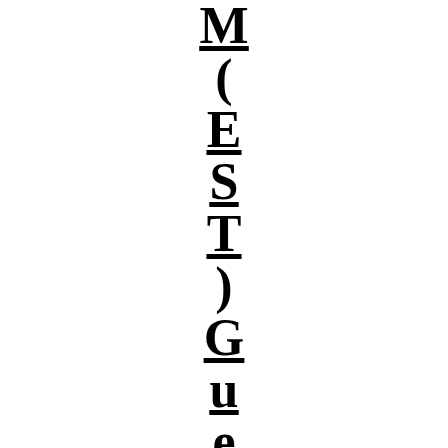M(EST)Guest Speaker Dan B
Vertical rotated text showing: M(EST)Guest Speaker Dan B